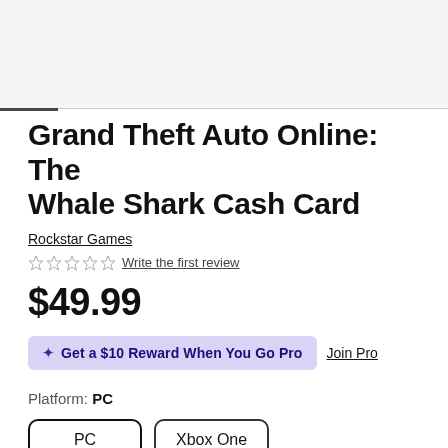Grand Theft Auto Online: The Whale Shark Cash Card
Rockstar Games
Write the first review
$49.99
✦ Get a $10 Reward When You Go Pro  Join Pro
Platform: PC
PC  Xbox One